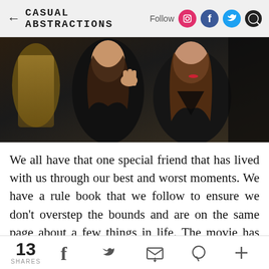← CASUAL ABSTRACTIONS  Follow
[Figure (photo): A couple in dark clothing in an intimate pose; a man with long hair and a woman with long brown hair and red lips in a dark setting]
We all have that one special friend that has lived with us through our best and worst moments. We have a rule book that we follow to ensure we don't overstep the bounds and are on the same page about a few things in life. The movie has showcased a strong
13 SHARES  f  Twitter  Email  Pinterest  +